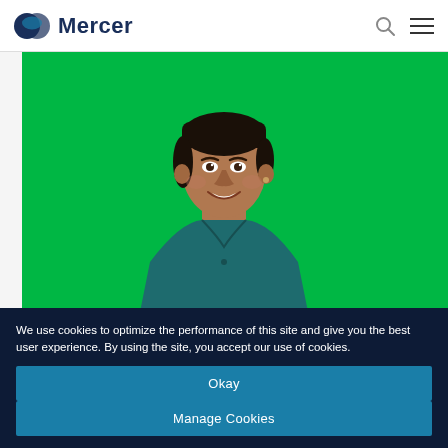Mercer
[Figure (photo): A smiling woman with short dark hair wearing a dark teal/green collared shirt against a bright green background.]
Design thinking - Redesigning later life
We use cookies to optimize the performance of this site and give you the best user experience. By using the site, you accept our use of cookies.
Okay
Manage Cookies